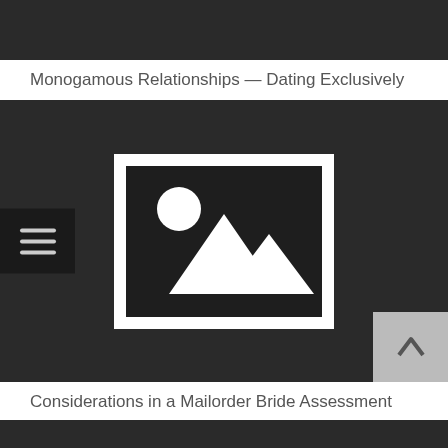[Figure (screenshot): Dark top navigation bar of a website]
Monogamous Relationships — Dating Exclusively
[Figure (photo): Dark image placeholder block with a white image icon (mountain and sun) in the center, a hamburger menu icon on the left, and a scroll-up button at the bottom right]
Considerations in a Mailorder Bride Assessment
[Figure (screenshot): Dark bottom navigation bar of a website]